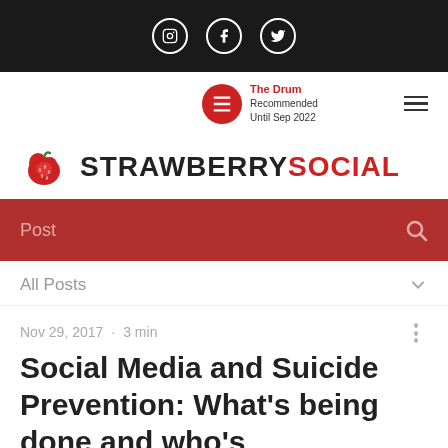[Figure (screenshot): Black top navigation bar with Instagram, Facebook, and Twitter social media icons in white circle outlines]
The Drum Recommended Until Sep 2022
[Figure (logo): Strawberry Social logo with red strawberry icon and bold text STRAWBERRY in black and SOCIAL in red]
Post
All Posts
Nov 29, 2017 · 3 min
Social Media and Suicide Prevention: What's being done and who's responsible?